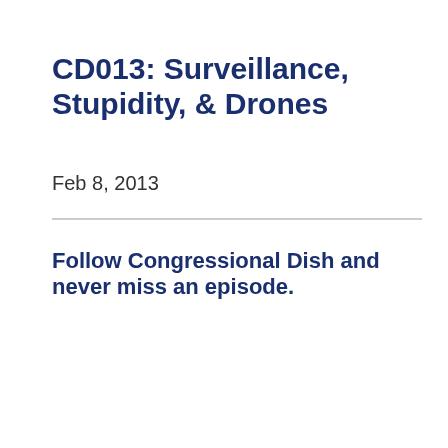CD013: Surveillance, Stupidity, & Drones
Feb 8, 2013
Follow Congressional Dish and never miss an episode.
[Figure (infographic): Row of podcast platform icons: Apple Podcasts, Google Podcasts, Spotify, Pandora, iHeartRadio, Stitcher, Amazon with labels beneath each icon]